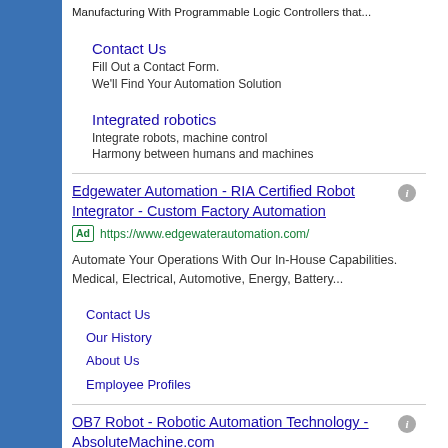Manufacturing With Programmable Logic Controllers that...
Contact Us
Fill Out a Contact Form.
We'll Find Your Automation Solution
Integrated robotics
Integrate robots, machine control
Harmony between humans and machines
Edgewater Automation - RIA Certified Robot Integrator - Custom Factory Automation
Ad  https://www.edgewaterautomation.com/
Automate Your Operations With Our In-House Capabilities. Medical, Electrical, Automotive, Energy, Battery...
Contact Us
Our History
About Us
Employee Profiles
OB7 Robot - Robotic Automation Technology - AbsoluteMachine.com
Ad  https://www.absolutemachine.com/cobot/robot